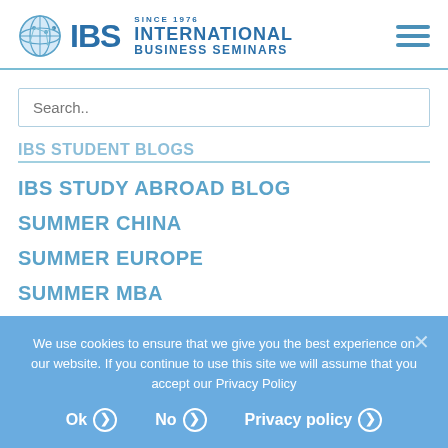[Figure (logo): IBS International Business Seminars logo with globe icon and SINCE 1976 text]
Search..
IBS STUDENT BLOGS
IBS STUDY ABROAD BLOG
SUMMER CHINA
SUMMER EUROPE
SUMMER MBA
We use cookies to ensure that we give you the best experience on our website. If you continue to use this site we will assume that you accept our Privacy Policy
Ok > No > Privacy policy >